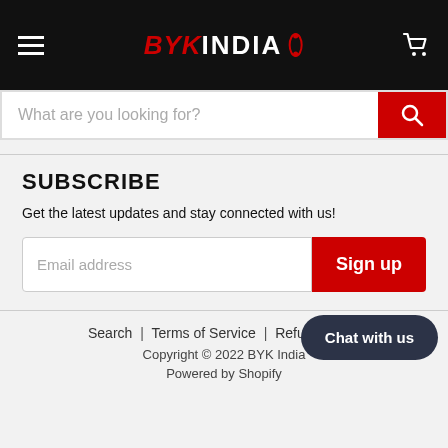BYK INDIA
What are you looking for?
SUBSCRIBE
Get the latest updates and stay connected with us!
Email address
Sign up
Search | Terms of Service | Refund policy
Copyright © 2022 BYK India
Powered by Shopify
Chat with us